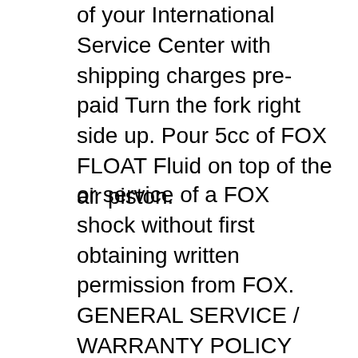of your International Service Center with shipping charges pre-paid Turn the fork right side up. Pour 5cc of FOX FLOAT Fluid on top of the air piston.
or service of a FOX shock without first obtaining written permission from FOX. GENERAL SERVICE / WARRANTY POLICY cont. F) Authorized FOX Service Centers will receive a 35% discount off the FOX suggested retail price. G) FOX requires all Authorized Service Centers to warranty all service performed on FOX shocks for a period of 3 months. Refer to your vehicleвЂ™s service manual for complete instructions. Recommended Service Intervals Your FOX Racing Shox will perform the best if serviced at